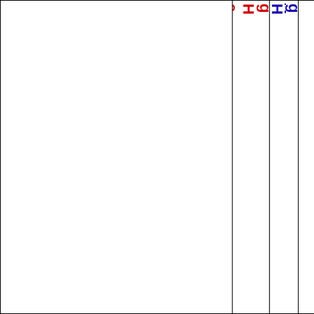|  | gHeader. DisplayType | gHeaderDisplayCodeType |  |  |